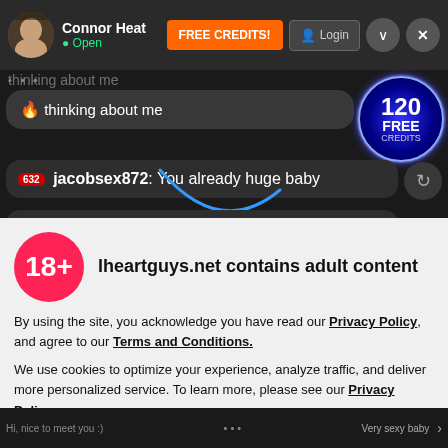Connor Heat • Open | FREE CREDITS! | Login
thinking about me
[Figure (infographic): 120 FREE CREDITS radial badge]
632 jacobsex872: You already huge baby
632 jacobsex872: You want more? 😏
lheartguys.net contains adult content
By using the site, you acknowledge you have read our Privacy Policy, and agree to our Terms and Conditions.
We use cookies to optimize your experience, analyze traffic, and deliver more personalized service. To learn more, please see our Privacy Policy.
I AGREE